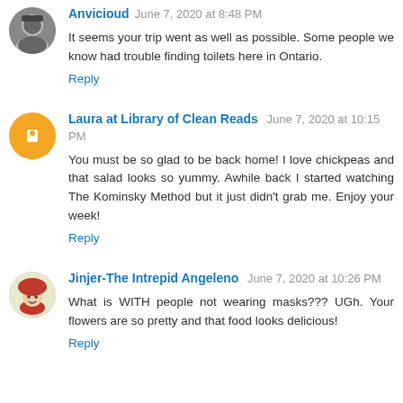Anvicioud June 7, 2020 at 8:48 PM
It seems your trip went as well as possible. Some people we know had trouble finding toilets here in Ontario.
Reply
Laura at Library of Clean Reads June 7, 2020 at 10:15 PM
You must be so glad to be back home! I love chickpeas and that salad looks so yummy. Awhile back I started watching The Kominsky Method but it just didn't grab me. Enjoy your week!
Reply
Jinjer-The Intrepid Angeleno June 7, 2020 at 10:26 PM
What is WITH people not wearing masks??? UGh. Your flowers are so pretty and that food looks delicious!
Reply